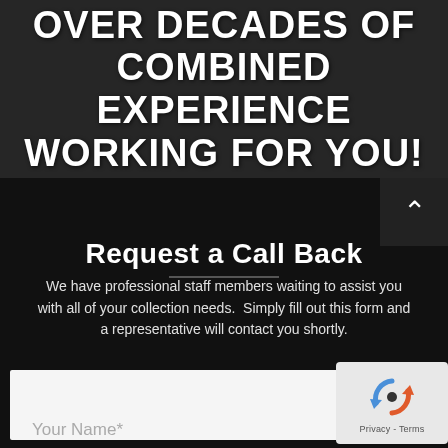OVER DECADES OF COMBINED EXPERIENCE WORKING FOR YOU!
Request a Call Back
We have professional staff members waiting to assist you with all of your collection needs.  Simply fill out this form and a representative will contact you shortly.
[Figure (other): reCAPTCHA verification widget with Privacy and Terms links]